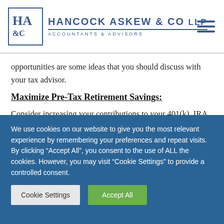Hancock Askew & Co LLP — Accountants & Advisors
opportunities are some ideas that you should discuss with your tax advisor.
Maximize Pre-Tax Retirement Savings:
Consider increasing your contributions to your 401(k), IRA or other retirement plan to reach the maximum allowable contribution. Pretax contributions not only reduce your taxable income now but will also increase your retirement income later
We use cookies on our website to give you the most relevant experience by remembering your preferences and repeat visits. By clicking “Accept All”, you consent to the use of ALL the cookies. However, you may visit “Cookie Settings” to provide a controlled consent.